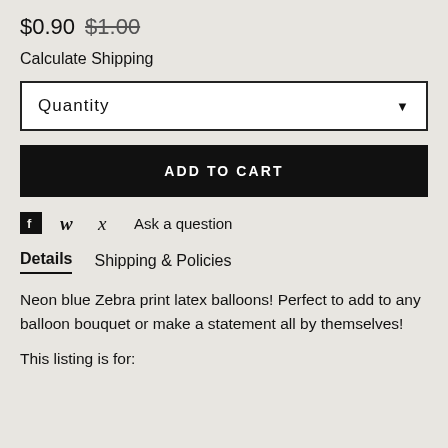$0.90 $1.00
Calculate Shipping
Quantity
ADD TO CART
Ask a question
Details   Shipping & Policies
Neon blue Zebra print latex balloons! Perfect to add to any balloon bouquet or make a statement all by themselves!
This listing is for: